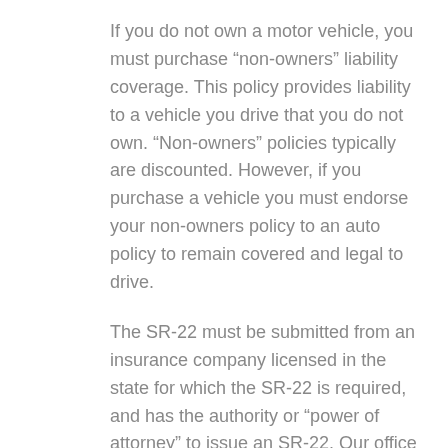If you do not own a motor vehicle, you must purchase “non-owners” liability coverage. This policy provides liability to a vehicle you drive that you do not own. “Non-owners” policies typically are discounted. However, if you purchase a vehicle you must endorse your non-owners policy to an auto policy to remain covered and legal to drive.
The SR-22 must be submitted from an insurance company licensed in the state for which the SR-22 is required, and has the authority or “power of attorney” to issue an SR-22. Our office maintains a listing of authorized agents and companies.
An SR-22 requirement can be issued by the Secretary of State, or the Ohio BMV based on a judgement in a county court. Depending on the state you live in SR-22’s are usually required for 12-36 months. Some states require these to be consecutive months, meaning that if you are late on a payment